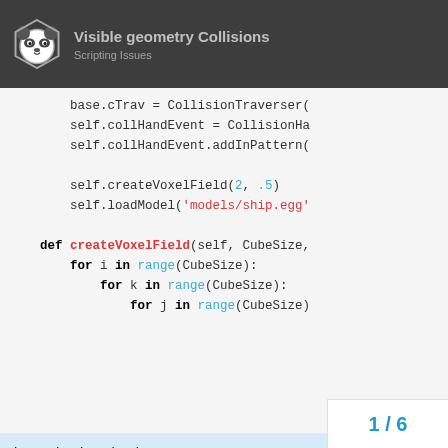Visible geometry Collisions
[Figure (screenshot): Code snippet showing Python game code with CollisionTraverser, CollisionHandler, createVoxelField and loadModel functions with nested for loops]
thats what i got but i get errors on base.cTrav.addCollider(model, self.collHandEvent) any ideas?
EDIT: well i seem to have gotten them the visible geometry. My problem now
1 / 6